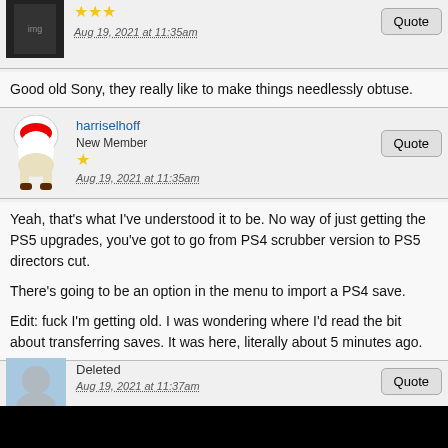[Figure (photo): User avatar - dark movie poster image]
★★★
Aug 19, 2021 at 11:35am
Quote
Good old Sony, they really like to make things needlessly obtuse.
harriselhoff
New Member
[Figure (illustration): Toad character avatar from Mario]
★
Aug 19, 2021 at 11:35am
Quote
Yeah, that's what I've understood it to be. No way of just getting the PS5 upgrades, you've got to go from PS4 scrubber version to PS5 directors cut.

There's going to be an option in the menu to import a PS4 save.

Edit: fuck I'm getting old. I was wondering where I'd read the bit about transferring saves. It was here, literally about 5 minutes ago.
Deleted
Aug 19, 2021 at 11:37am
Quote
Sony morphing into Nintendo.